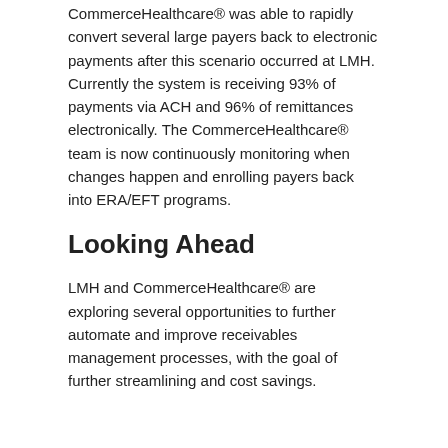CommerceHealthcare® was able to rapidly convert several large payers back to electronic payments after this scenario occurred at LMH. Currently the system is receiving 93% of payments via ACH and 96% of remittances electronically. The CommerceHealthcare® team is now continuously monitoring when changes happen and enrolling payers back into ERA/EFT programs.
Looking Ahead
LMH and CommerceHealthcare® are exploring several opportunities to further automate and improve receivables management processes, with the goal of further streamlining and cost savings.
Solutions: Receivables Management
Tags: RemitConnect